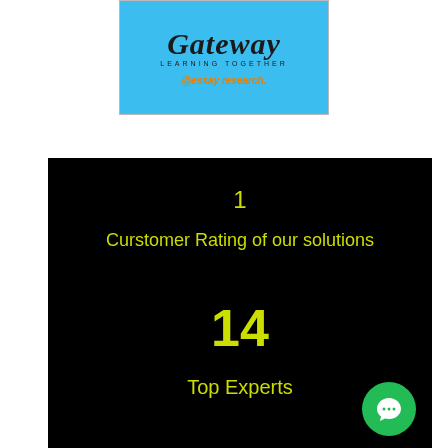[Figure (logo): Gateway Learning Together logo on light blue background with '@essay research.' link below]
1
Curstomer Rating of our solutions
14
Top Experts